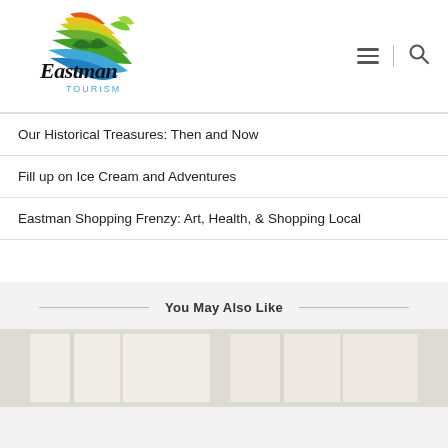[Figure (logo): Eastman Tourism logo with colorful leaf design and 'Eastman TOURISM' text]
Our Historical Treasures: Then and Now
Fill up on Ice Cream and Adventures
Eastman Shopping Frenzy: Art, Health, & Shopping Local
You May Also Like
[Figure (photo): Partial image at bottom of page showing interior scene]